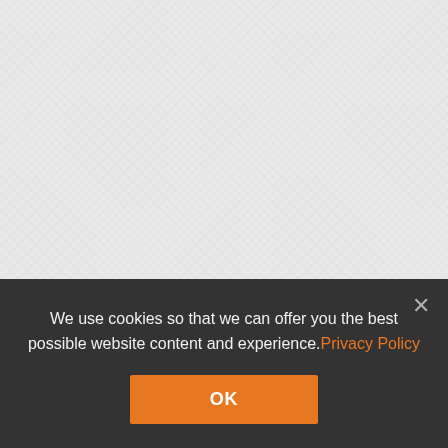Damage by Long-Range
Available via completing the
Update 0.9.7:
Minor fixes to geometry a
Update 0.10.0:
Increased accuracy of sec
The firing range of the sec
We use cookies so that we can offer you the best possible website content and experience. Privacy Policy
OK